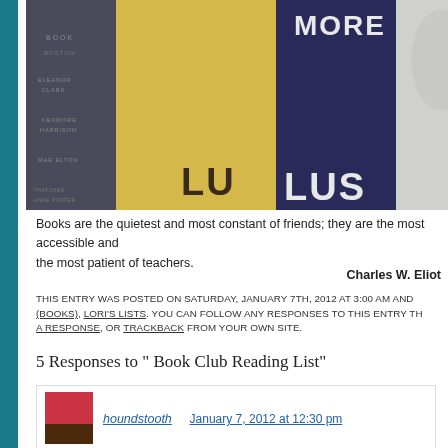[Figure (photo): Close-up photo of book spines on a shelf, showing 'BOOK LUS' and 'MORE BOOK LUS' text on yellow and dark blue/purple book spines]
Books are the quietest and most constant of friends; they are the most accessible and the most patient of teachers.
Charles W. Eliot
THIS ENTRY WAS POSTED ON SATURDAY, JANUARY 7TH, 2012 AT 3:00 AM AND IS FILED UNDER (BOOKS), LORI'S LISTS. YOU CAN FOLLOW ANY RESPONSES TO THIS ENTRY THROUGH THE RSS 2.0 FEED. LEAVE A RESPONSE, OR TRACKBACK FROM YOUR OWN SITE.
5 Responses to " Book Club Reading List"
houndstooth   January 7, 2012 at 12:30 pm